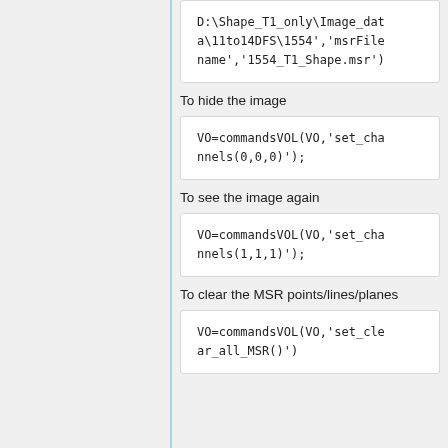D:\Shape_T1_only\Image_data\11to14DFS\1554','msrFilename','1554_T1_Shape.msr')
To hide the image
VO=commandsVOL(VO,'set_channels(0,0,0)');
To see the image again
VO=commandsVOL(VO,'set_channels(1,1,1)');
To clear the MSR points/lines/planes
VO=commandsVOL(VO,'set_clear_all_MSR()')